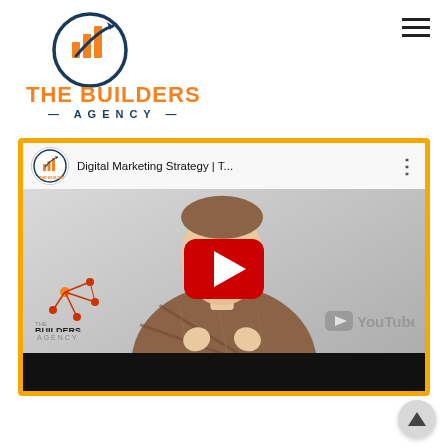[Figure (logo): The Builders Agency logo: circular icon with bar chart and upward arrow, orange and dark blue colors, with text THE BUILDERS AGENCY below]
[Figure (screenshot): YouTube video thumbnail embedded in a website. Video title: 'Digital Marketing Strategy | T...' with The Builders Agency channel icon. Main content shows a man in a plaid shirt with the YouTube play button overlay. Bottom left shows The Builders Agency logo with network/node icon. Bottom right shows YouTube watermark. Video frame is bordered in gold/yellow.]